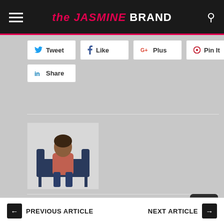the JASMINE BRAND
Tweet
Like
Plus
Pin It
Share
[Figure (photo): Author photo: Char Patterson sitting on a dark chair]
Authored by: Char Patterson
PREVIOUS ARTICLE | NEXT ARTICLE